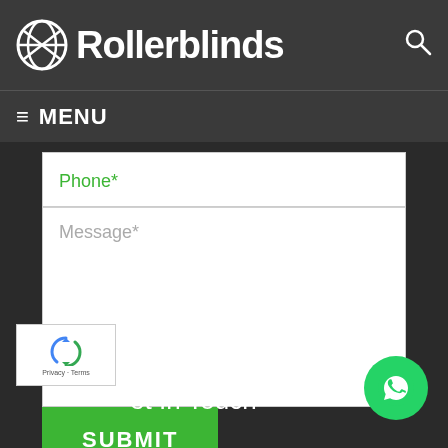Rollerblinds
MENU
[Figure (screenshot): Contact form with Phone* field and Message* textarea, a green SUBMIT button, reCAPTCHA badge, and a WhatsApp floating action button. Background shows a dark living room scene.]
Get In Touch